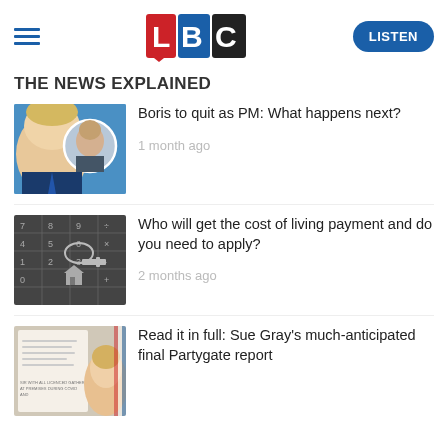LBC - LISTEN
THE NEWS EXPLAINED
[Figure (photo): Thumbnail image of Boris Johnson and another politician on blue background]
Boris to quit as PM: What happens next?
1 month ago
[Figure (photo): Thumbnail image of a calculator with keys/house keyring on dark background]
Who will get the cost of living payment and do you need to apply?
2 months ago
[Figure (photo): Thumbnail image related to Sue Gray Partygate report with Boris Johnson visible]
Read it in full: Sue Gray's much-anticipated final Partygate report